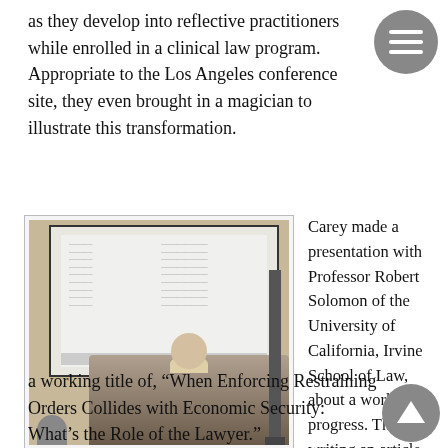as they develop into reflective practitioners while enrolled in a clinical law program. Appropriate to the Los Angeles conference site, they even brought in a magician to illustrate this transformation.
[Figure (photo): Professor Camille Carey stands in front of a large projection screen displaying a presentation, gesturing with both hands. An audience member is partially visible in the lower left.]
Professor Camille Carey discusses an article she is working on.
Carey made a presentation with Professor Robert Solomon of the University of California, Irvine School of Law, about a work in progress. They are writing an article together with a working title of, “When Enforcing Restraining Orders Collides with Economic Security: What’s the Role of the Lawyer.”